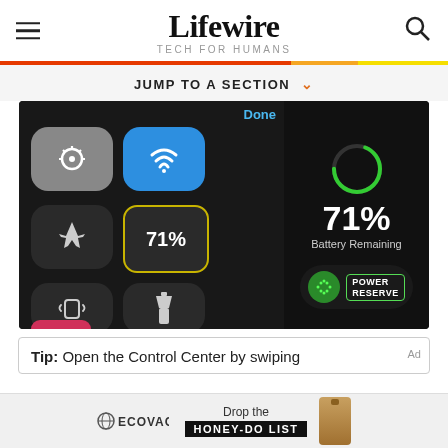Lifewire TECH FOR HUMANS
JUMP TO A SECTION
[Figure (screenshot): Apple Watch Control Center screenshot showing 71% battery remaining with Power Reserve option, and iOS control center with cellular, WiFi, airplane mode, battery percentage (71%), ping phone, and flashlight buttons.]
Tip: Open the Control Center by swiping
[Figure (other): Ecovacs advertisement banner: Drop the HONEY-DO LIST]